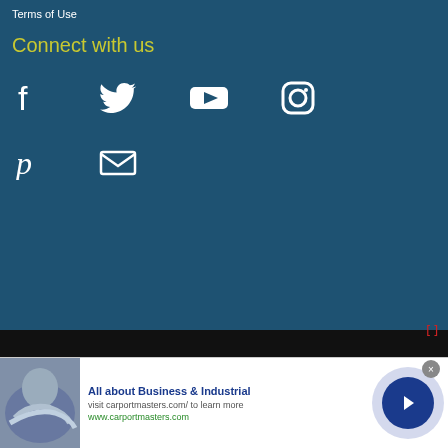Terms of Use
Connect with us
[Figure (infographic): Social media icons: Facebook, Twitter, YouTube, Instagram, Pinterest, Email (envelope)]
© Golden Skate 1999-2022
Style chooser
Contact us   Terms and rules   Privacy policy   Help
Forum Guidelines   Home   [RSS icon]
[Figure (infographic): Advertisement: All about Business & Industrial. visit carportmasters.com/ to learn more. www.carportmasters.com. Shows handshake image and arrow button.]